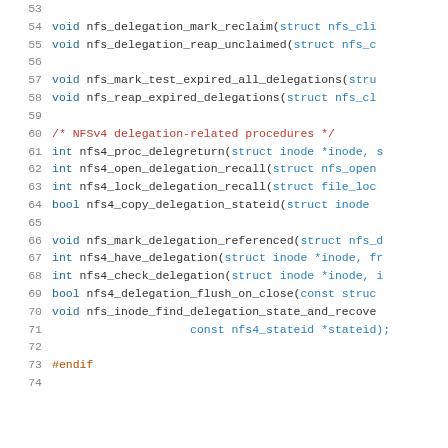[Figure (screenshot): Source code listing showing C header file function declarations for NFS delegation-related procedures, lines 53-74, with syntax highlighting: keywords in blue, function names in blue, comments in red, preprocessor directives in orange.]